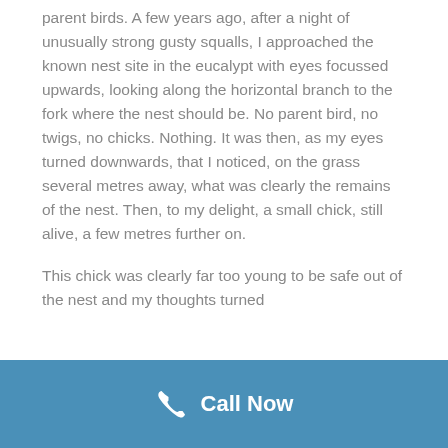parent birds. A few years ago, after a night of unusually strong gusty squalls, I approached the known nest site in the eucalypt with eyes focussed upwards, looking along the horizontal branch to the fork where the nest should be. No parent bird, no twigs, no chicks. Nothing. It was then, as my eyes turned downwards, that I noticed, on the grass several metres away, what was clearly the remains of the nest. Then, to my delight, a small chick, still alive, a few metres further on.
This chick was clearly far too young to be safe out of the nest and my thoughts turned
Call Now